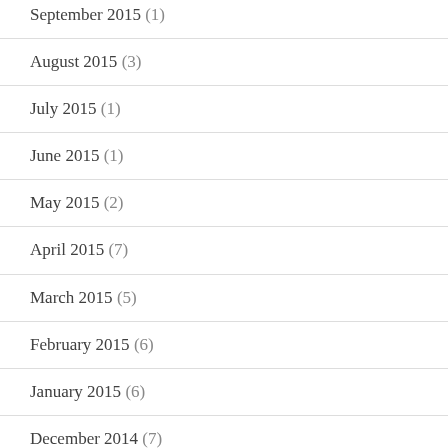September 2015 (1)
August 2015 (3)
July 2015 (1)
June 2015 (1)
May 2015 (2)
April 2015 (7)
March 2015 (5)
February 2015 (6)
January 2015 (6)
December 2014 (7)
November 2014 (1)
October 2014 (1)